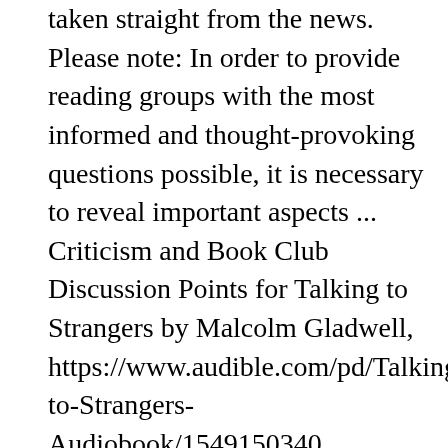taken straight from the news. Please note: In order to provide reading groups with the most informed and thought-provoking questions possible, it is necessary to reveal important aspects ... Criticism and Book Club Discussion Points for Talking to Strangers by Malcolm Gladwell, https://www.audible.com/pd/Talking-to-Strangers-Audiobook/1549150340, https://www.theatlantic.com/ideas/archive/2019/malcolm-gladwell-says-nothing-at-all/597697/, https://www.theguardian.com/books/2019/sep/1/to-strangers-malcolm-gladwell-review, 10 times that of other high-income countries, 33 Lessons from Talking To Strangers by Malcolm